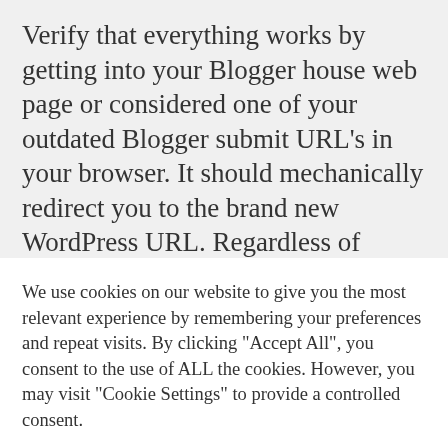Verify that everything works by getting into your Blogger house web page or considered one of your outdated Blogger submit URL's in your browser. It should mechanically redirect you to the brand new WordPress URL. Regardless of GERS-deniers' determined makes an attempt to obfuscate and misdirect, Scotland's greater per capita spending has nothing to do with estimates or allocations. No one credibly disputes that we spend over £1,500 per particular person extra on comparable public
We use cookies on our website to give you the most relevant experience by remembering your preferences and repeat visits. By clicking "Accept All", you consent to the use of ALL the cookies. However, you may visit "Cookie Settings" to provide a controlled consent.